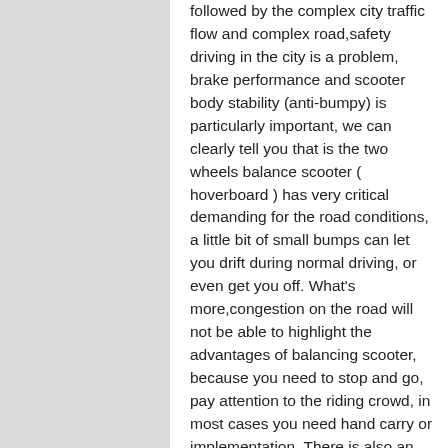followed by the complex city traffic flow and complex road,safety driving in the city is a problem, brake performance and scooter body stability (anti-bumpy) is particularly important, we can clearly tell you that is the two wheels balance scooter ( hoverboard ) has very critical demanding for the road conditions, a little bit of small bumps can let you drift during normal driving, or even get you off. What's more,congestion on the road will not be able to highlight the advantages of balancing scooter, because you need to stop and go, pay attention to the riding crowd, in most cases you need hand carry or implementation. There is also an important matter is the unavoidable battery capacity, driving mileage and replacement costs, the battery replacement is an important part of the current electric balance scooter,currently good quality battery prices are generally high, so it will cause the user some burden.Also some cities may even ban a class of